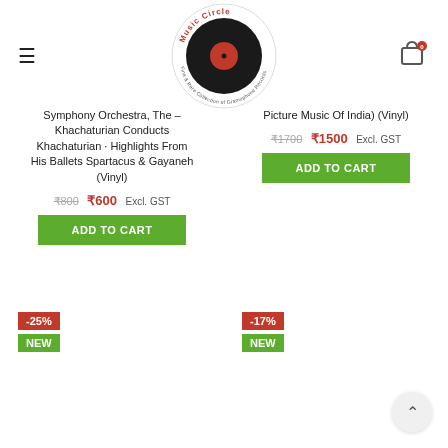[Figure (logo): Music Circle logo - vinyl record with red center and circular text 'Music Circle Fine & Rare Collection of Gramophone Records']
Symphony Orchestra, The – Khachaturian Conducts Khachaturian · Highlights From His Ballets Spartacus & Gayaneh (Vinyl)
₹800 ₹600 Excl. GST
ADD TO CART
Picture Music Of India) (Vinyl)
₹1700 ₹1500 Excl. GST
ADD TO CART
-25%
NEW
-17%
NEW